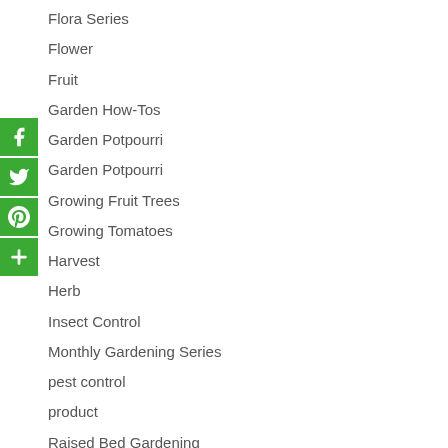Flora Series
Flower
Fruit
Garden How-Tos
Garden Potpourri
Garden Potpourri
Growing Fruit Trees
Growing Tomatoes
Harvest
Herb
Insect Control
Monthly Gardening Series
pest control
product
Raised Bed Gardening